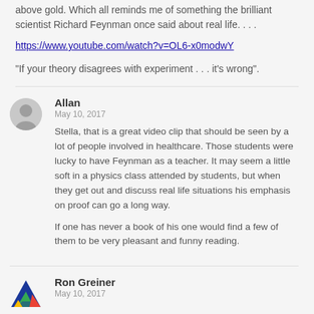above gold. Which all reminds me of something the brilliant scientist Richard Feynman once said about real life. . . .
https://www.youtube.com/watch?v=OL6-x0modwY
"If your theory disagrees with experiment . . . it's wrong".
Allan
May 10, 2017
Stella, that is a great video clip that should be seen by a lot of people involved in healthcare. Those students were lucky to have Feynman as a teacher. It may seem a little soft in a physics class attended by students, but when they get out and discuss real life situations his emphasis on proof can go a long way.

If one has never a book of his one would find a few of them to be very pleasant and funny reading.
Ron Greiner
May 10, 2017